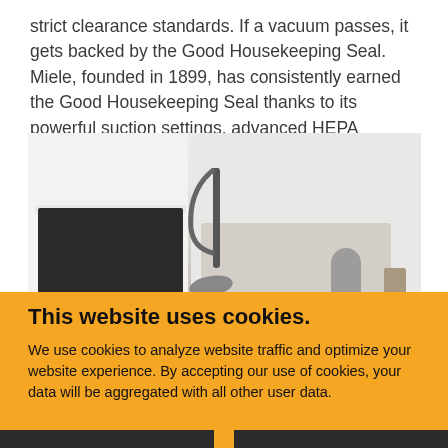strict clearance standards. If a vacuum passes, it gets backed by the Good Housekeeping Seal. Miele, founded in 1899, has consistently earned the Good Housekeeping Seal thanks to its powerful suction settings, advanced HEPA filtration, and durable ABS plastic construction.
[Figure (photo): A Miele vacuum cleaner standing upright in a modern living room with a fireplace, sofa, and person resting on the sofa.]
This website uses cookies.
We use cookies to analyze website traffic and optimize your website experience. By accepting our use of cookies, your data will be aggregated with all other user data.